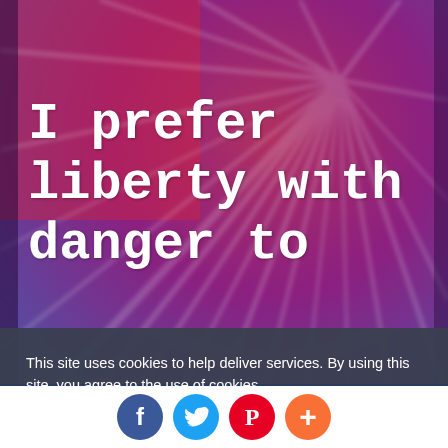[Figure (illustration): Inspirational quote graphic with red-to-blue/purple radial burst background. White bold monospace text reads 'I prefer liberty with danger to' on the image. Below is a semi-transparent dark cookie consent banner. A dark blue footer bar shows the website URL. White background strip at bottom with four social media icon circles (Facebook blue, Twitter cyan, Pinterest red, Plus orange).]
I prefer liberty with danger to
This site uses cookies to help deliver services. By using this site, you agree to the use of cookies.
LEARN MORE   OK
morninginspirationalquotes.com